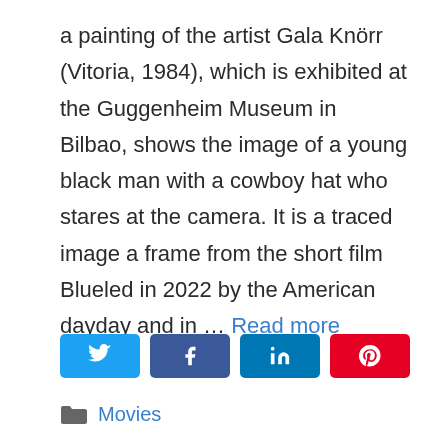a painting of the artist Gala Knörr (Vitoria, 1984), which is exhibited at the Guggenheim Museum in Bilbao, shows the image of a young black man with a cowboy hat who stares at the camera. It is a traced image a frame from the short film Blueled in 2022 by the American dayday and in … Read more
[Figure (other): Social share buttons: Twitter (blue), Facebook (blue), LinkedIn (dark blue), Pinterest (red)]
Movies